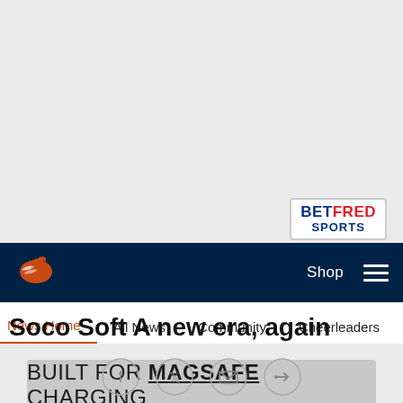[Figure (logo): Betfred Sports logo badge — white rectangle with red BETFRED text and blue SPORTS text below]
[Figure (logo): Denver Broncos horse logo in orange on dark navy navigation bar]
Shop  ☰
News Home   All News   Community   Cheerleaders   Media Room
[Figure (screenshot): Advertisement banner with text: BUILT FOR MAGSAFE CHARGING]
Saco Soft A new era, again
[Figure (other): Social sharing icons: Facebook, Twitter, Email, Link]